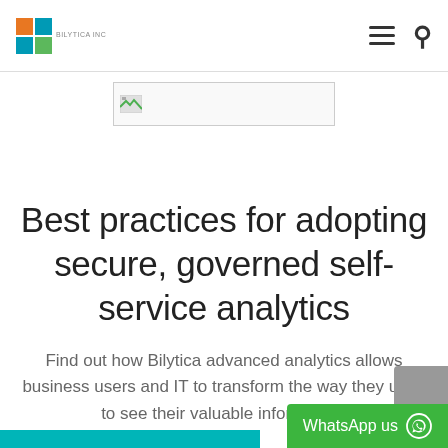Bilytica logo and navigation bar with hamburger menu and search icon
[Figure (logo): Broken/loading image placeholder with small icon]
Best practices for adopting secure, governed self-service analytics
Find out how Bilytica advanced analytics allows business users and IT to transform the way they used to see their valuable information.